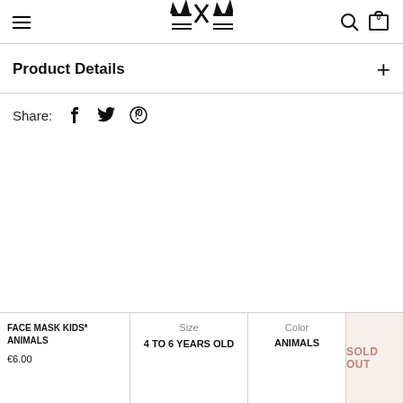Navigation header with hamburger menu, brand logo, search and cart icons
Product Details
Share: [Facebook] [Twitter] [Pinterest]
FACE MASK KIDS* ANIMALS €6.00 | Size: 4 TO 6 YEARS OLD | Color: ANIMALS | SOLD OUT